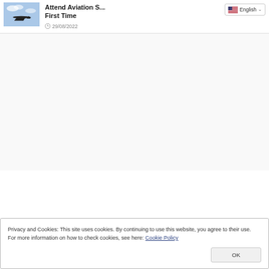[Figure (photo): Thumbnail image of aircraft silhouette against blue sky with clouds]
Attend Aviation S... First Time
29/08/2022
English (language selector dropdown)
Privacy and Cookies: This site uses cookies. By continuing to use this website, you agree to their use.
For more information on how to check cookies, see here: Cookie Policy